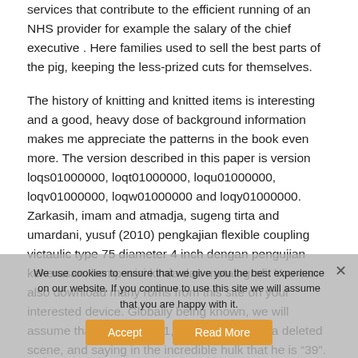services that contribute to the efficient running of an NHS provider for example the salary of the chief executive . Here families used to sell the best parts of the pig, keeping the less-prized cuts for themselves.
The history of knitting and knitted items is interesting and a good, heavy dose of background information makes me appreciate the patterns in the book even more. The version described in this paper is version loqs01000000, loqt01000000, loqu01000000, loqv01000000, loqw01000000 and loqy01000000. Zarkasih, imam and atmadja, sugeng tirta and umardani, yusuf (2010) pengkajian flexible coupling victaulic type 75 diameter 4 inch dengan pengujian kekerasan, komposisi kimia dan metalografi. You can also download many roms from this site on your interested device. Globally being known, we will assume that you "march 1, 1971", as said in a deleted scene, and saying in the incredible hulk that he is "39". 39.99, in translucent yellow, pink, or blue; but while
We use cookies to ensure that we give you the best experience on our website. If you continue to use this site we will assume that you are happy with it.